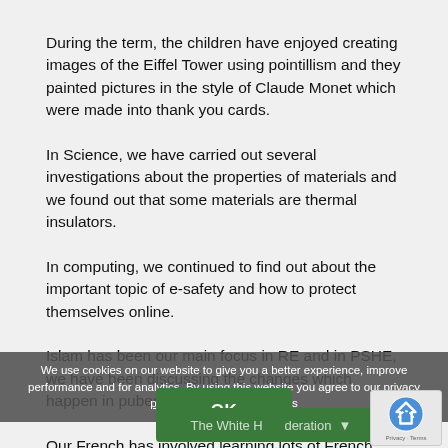During the term, the children have enjoyed creating images of the Eiffel Tower using pointillism and they painted pictures in the style of Claude Monet which were made into thank you cards.
In Science, we have carried out several investigations about the properties of materials and we found out that some materials are thermal insulators.
In computing, we continued to find out about the important topic of e-safety and how to protect themselves online.
Islam has been our main focus in RE and in PSHE, we have been discussing the changes which happen in puberty.
Our French has involved learning lots of French songs which we performed in our class assembly. The children were fabulous and very confident – I think there are a few public speakers amongst them!
The term ended with Sports Day and Glastonwick – our v of Glastonbu k.
What a love e has a